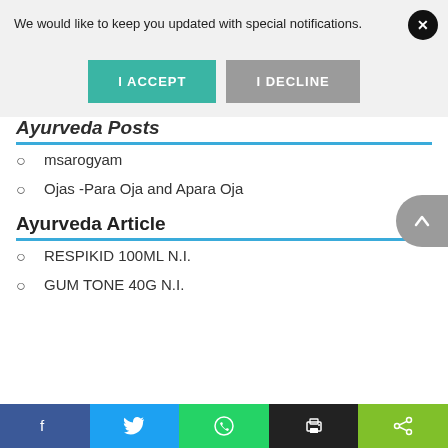We would like to keep you updated with special notifications.
[Figure (screenshot): Notification consent dialog with I ACCEPT (teal) and I DECLINE (gray) buttons, and a close (x) button in the top right corner]
Ayurveda Posts
msarogyam
Ojas -Para Oja and Apara Oja
Ayurveda Article
RESPIKID 100ML N.I.
GUM TONE 40G N.I.
Social share bar: Facebook, Twitter, WhatsApp, Print, Share